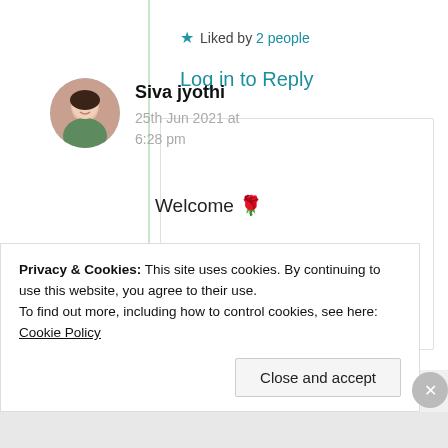★ Liked by 2 people
Log in to Reply
Siva jyothi
25th Jun 2021 at 6:28 pm
Welcome 🌹
Privacy & Cookies: This site uses cookies. By continuing to use this website, you agree to their use.
To find out more, including how to control cookies, see here: Cookie Policy
Close and accept